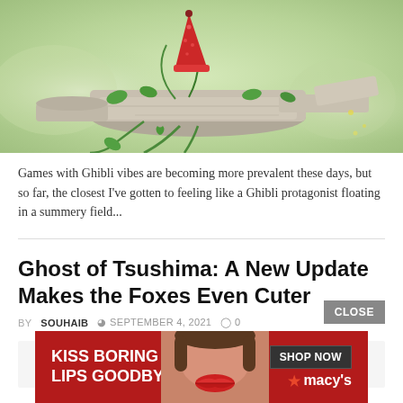[Figure (illustration): Ghibli-style illustration of a stone/rock structure draped with green vines and a red pointed gnome hat on top, set against a soft green misty background]
Games with Ghibli vibes are becoming more prevalent these days, but so far, the closest I've gotten to feeling like a Ghibli protagonist floating in a summery field...
Ghost of Tsushima: A New Update Makes the Foxes Even Cuter
BY SOUHAIB  SEPTEMBER 4, 2021  0
[Figure (photo): Partial preview image below the article meta, light gray]
[Figure (screenshot): Advertisement banner: KISS BORING LIPS GOODBYE with SHOP NOW button and macy's star logo on red background]